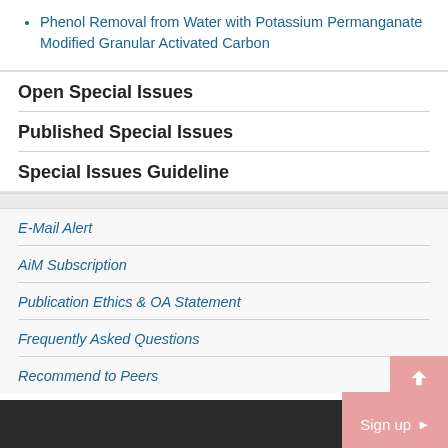Phenol Removal from Water with Potassium Permanganate Modified Granular Activated Carbon
Open Special Issues
Published Special Issues
Special Issues Guideline
E-Mail Alert
AiM Subscription
Publication Ethics & OA Statement
Frequently Asked Questions
Recommend to Peers
Sign up